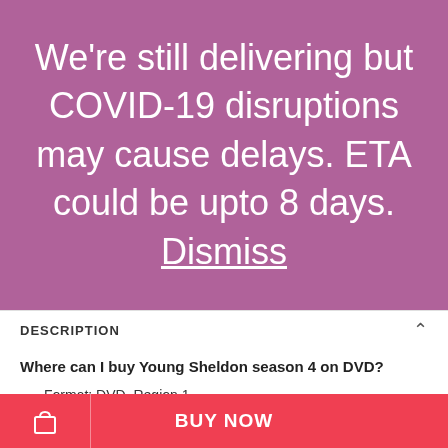We're still delivering but COVID-19 disruptions may cause delays. ETA could be upto 8 days. Dismiss
DESCRIPTION
Where can I buy Young Sheldon season 4 on DVD?
Format: DVD, Region 1
Number of Disc: 2
Genre: Sitcom
BUY NOW